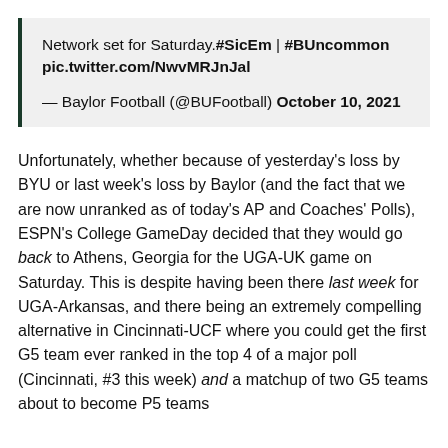Network set for Saturday.#SicEm | #BUncommon pic.twitter.com/NwvMRJnJal
— Baylor Football (@BUFootball) October 10, 2021
Unfortunately, whether because of yesterday's loss by BYU or last week's loss by Baylor (and the fact that we are now unranked as of today's AP and Coaches' Polls), ESPN's College GameDay decided that they would go back to Athens, Georgia for the UGA-UK game on Saturday. This is despite having been there last week for UGA-Arkansas, and there being an extremely compelling alternative in Cincinnati-UCF where you could get the first G5 team ever ranked in the top 4 of a major poll (Cincinnati, #3 this week) and a matchup of two G5 teams about to become P5 teams